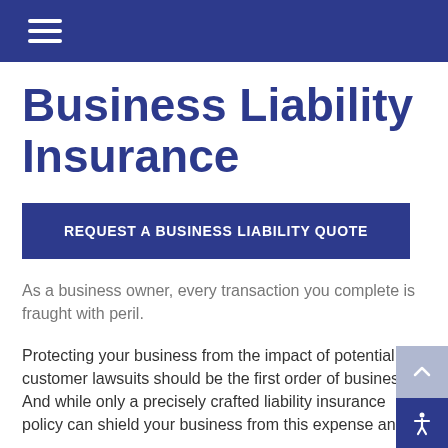Business Liability Insurance
REQUEST A BUSINESS LIABILITY QUOTE
As a business owner, every transaction you complete is fraught with peril.
Protecting your business from the impact of potential customer lawsuits should be the first order of business. And while only a precisely crafted liability insurance policy can shield your business from this expense and